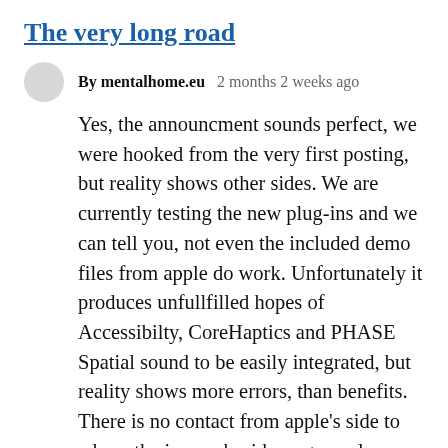The very long road
By mentalhome.eu   2 months 2 weeks ago
Yes, the announcment sounds perfect, we were hooked from the very first posting, but reality shows other sides. We are currently testing the new plug-ins and we can tell you, not even the included demo files from apple do work. Unfortunately it produces unfullfilled hopes of Accessibilty, CoreHaptics and PHASE Spatial sound to be easily integrated, but reality shows more errors, than benefits. There is no contact from apple's side to adress the issues, besides a general feedback site, so it will take a long road to get there, what the announcement already promised to be there.